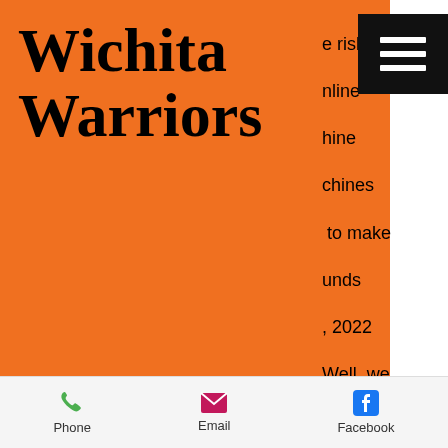Wichita Warriors
[Figure (screenshot): Hamburger menu icon button (three horizontal white lines on black background)]
e risk of nline hine chines to make unds , 2022 Well, we about the new casino slot game - one of the most fun slot machine games that you can get your hands on! You get the no deposit bonus the moment you sign up with the casino, casino sites kingcasino bonus. It usually lists out the slots covered by this bonus. The only thing the casino is really lacking is a hotel, slot machine after effects free. There are bars, restaurants, and even a concert venue, with several independent hotels in the area
Phone   Email   Facebook